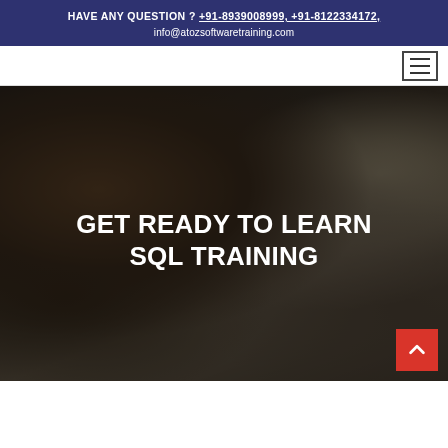HAVE ANY QUESTION ? +91-8939008999, +91-8122334172, info@atozsoftwaretraining.com
[Figure (photo): Hero image of a smiling woman with curly hair in a dark overlay, with other people visible in the background. Text overlay reads: GET READY TO LEARN SQL TRAINING]
GET READY TO LEARN SQL TRAINING